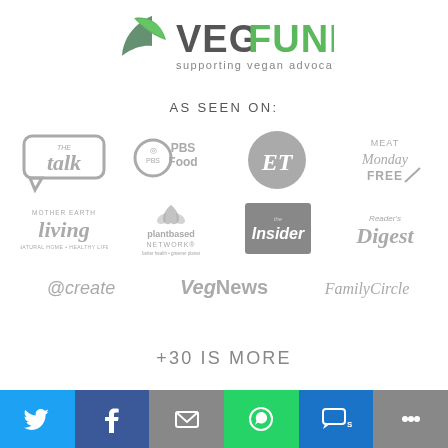[Figure (logo): VegFund logo with leaf icon and tagline 'supporting vegan advocates globally']
AS SEEN ON:
[Figure (infographic): Grid of media logos in grayscale: The Talk, PBS Food, ET, Meat Monday Free, Mother Earth Living, Plantbased Network, The Insider, Reader's Digest, @create, VegNews, FamilyCircle]
+30 IS MORE
[Figure (infographic): Social sharing bar with Twitter, Facebook, Email, WhatsApp, SMS, and More buttons]